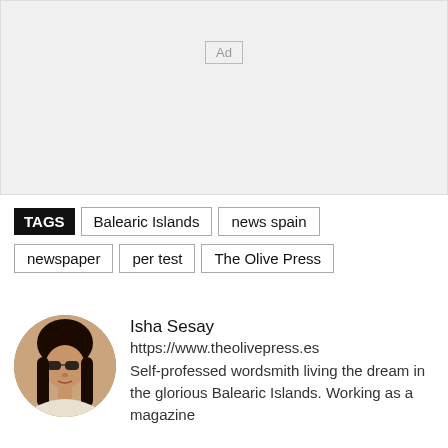[Figure (other): Advertisement placeholder box with 'Ad' label in center]
TAGS  Balearic Islands  news spain  newspaper  per test  The Olive Press
Isha Sesay
https://www.theolivepress.es
Self-professed wordsmith living the dream in the glorious Balearic Islands. Working as a magazine